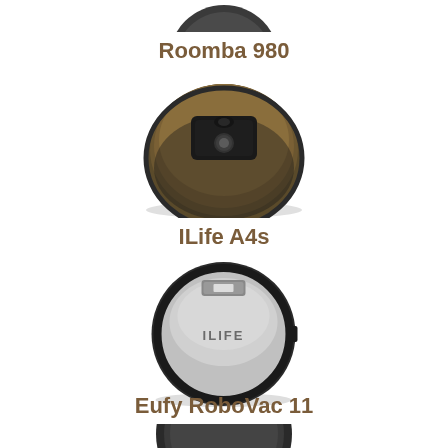[Figure (photo): Top portion of a robot vacuum cleaner visible at the very top of the page (cropped)]
Roomba 980
[Figure (photo): iRobot Roomba 980 robot vacuum cleaner, circular, dark bronze/brown color with black top panel and sensors]
ILife A4s
[Figure (photo): ILife A4s robot vacuum cleaner, circular, silver/dark gray color with ILIFE text on top]
Eufy RoboVac 11
[Figure (photo): Top portion of Eufy RoboVac 11 robot vacuum cleaner, partially visible at bottom of page]